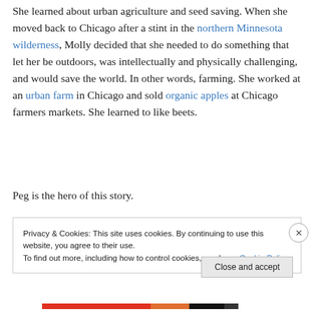She learned about urban agriculture and seed saving. When she moved back to Chicago after a stint in the northern Minnesota wilderness, Molly decided that she needed to do something that let her be outdoors, was intellectually and physically challenging, and would save the world. In other words, farming. She worked at an urban farm in Chicago and sold organic apples at Chicago farmers markets. She learned to like beets.
Peg is the hero of this story.
Privacy & Cookies: This site uses cookies. By continuing to use this website, you agree to their use. To find out more, including how to control cookies, see here: Cookie Policy